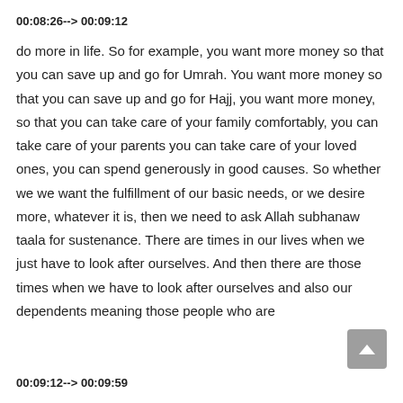00:08:26--> 00:09:12
do more in life. So for example, you want more money so that you can save up and go for Umrah. You want more money so that you can save up and go for Hajj, you want more money, so that you can take care of your family comfortably, you can take care of your parents you can take care of your loved ones, you can spend generously in good causes. So whether we we want the fulfillment of our basic needs, or we desire more, whatever it is, then we need to ask Allah subhanaw taala for sustenance. There are times in our lives when we just have to look after ourselves. And then there are those times when we have to look after ourselves and also our dependents meaning those people who are
00:09:12--> 00:09:59